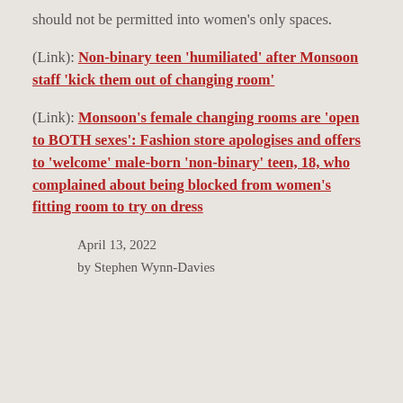should not be permitted into women's only spaces.
(Link): Non-binary teen 'humiliated' after Monsoon staff 'kick them out of changing room'
(Link): Monsoon's female changing rooms are 'open to BOTH sexes': Fashion store apologises and offers to 'welcome' male-born 'non-binary' teen, 18, who complained about being blocked from women's fitting room to try on dress
April 13, 2022
by Stephen Wynn-Davies